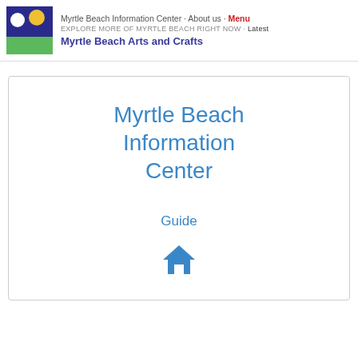Myrtle Beach Information Center · About us · Menu
EXPLORE MORE OF MYRTLE BEACH RIGHT NOW · Latest
Myrtle Beach Arts and Crafts
Myrtle Beach Information Center
Guide
[Figure (illustration): Blue home/house icon]